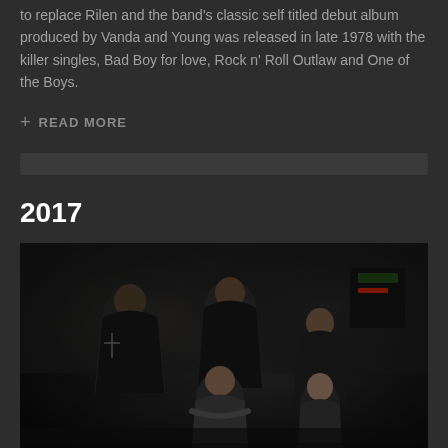to replace Rilen and the band's classic self titled debut album produced by Vanda and Young was released in late 1978 with the killer singles, Bad Boy for love, Rock n' Roll Outlaw and One of the Boys.
+ READ MORE
2017
[Figure (photo): Band photo of five men posing in a dark indoor setting. Members wearing dark clothing including leather jacket. Group arranged with some standing and some seated.]